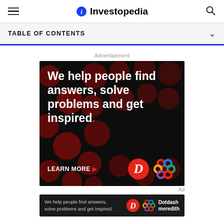Investopedia
TABLE OF CONTENTS
Advertisement
[Figure (illustration): Dotdash Meredith advertisement on dark background with red polka dot circles pattern. Bold white text reads: 'We help people find answers, solve problems and get inspired.' with a red period. 'LEARN MORE' with red arrow. Dotdash logo (red circle with white D) and Meredith colorful knot logo shown at bottom right.]
[Figure (illustration): Bottom banner: dark background with text 'We help people find answers, solve problems and get inspired.' Dotdash logo and Meredith logo with text 'Dotdash meredith']